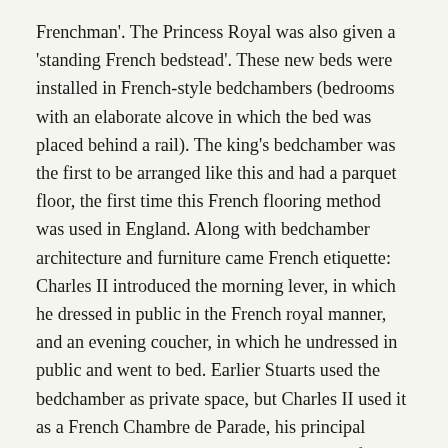Frenchman'. The Princess Royal was also given a 'standing French bedstead'. These new beds were installed in French-style bedchambers (bedrooms with an elaborate alcove in which the bed was placed behind a rail). The king's bedchamber was the first to be arranged like this and had a parquet floor, the first time this French flooring method was used in England. Along with bedchamber architecture and furniture came French etiquette: Charles II introduced the morning lever, in which he dressed in public in the French royal manner, and an evening coucher, in which he undressed in public and went to bed. Earlier Stuarts used the bedchamber as private space, but Charles II used it as a French Chambre de Parade, his principal audience chamber. To maintain the setting of his Court in the French fashion, in 1660 Charles II started sending English artists to Paris to learn French Fashion. Perhaps the most important of these trips was made by Sir Christopher Wren in 1669. Charles II wanted to rebuild the Tudor Whitehall Palace and sent Wren to see the Louvre